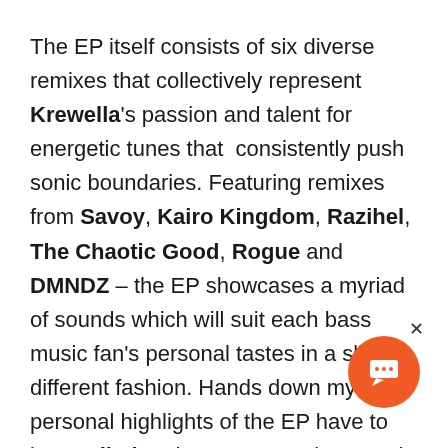The EP itself consists of six diverse remixes that collectively represent Krewella's passion and talent for energetic tunes that  consistently push sonic boundaries. Featuring remixes from Savoy, Kairo Kingdom, Razihel, The Chaotic Good, Rogue and DMNDZ – the EP showcases a myriad of sounds which will suit each bass music fan's personal tastes in a slightly different fashion. Hands down my personal highlights of the EP have to be Razihel and Rogue's remixes. Both artists compliment the sultry vocals of Jahan and Yasmine with a healthy allotment of wobbles and snarling bass which in my opinion is a combination that simply can't be beat. DMNDZ and Savoy both elected to create trap remixes of the original and in my opinion these turned out to be some of the weakest selections of the EP. DMNDZ's rendit[ion of the] original continues to push the pace which is more [to my] liking but personally I was very disappointed that Savoy's